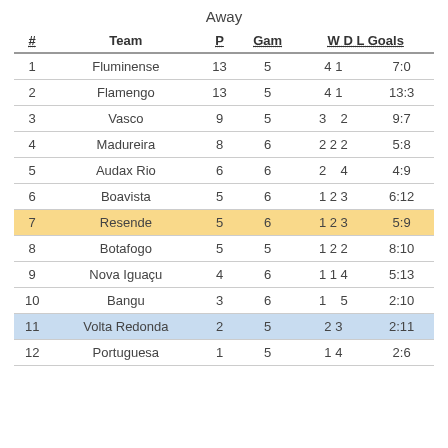Away
| # | Team | P | Gam | W D L Goals |
| --- | --- | --- | --- | --- |
| 1 | Fluminense | 13 | 5 | 4 1 | 7:0 |
| 2 | Flamengo | 13 | 5 | 4 1 | 13:3 |
| 3 | Vasco | 9 | 5 | 3 | 2 9:7 |
| 4 | Madureira | 8 | 6 | 2 2 2 | 5:8 |
| 5 | Audax Rio | 6 | 6 | 2 | 4 4:9 |
| 6 | Boavista | 5 | 6 | 1 2 3 | 6:12 |
| 7 | Resende | 5 | 6 | 1 2 3 | 5:9 |
| 8 | Botafogo | 5 | 5 | 1 2 2 | 8:10 |
| 9 | Nova Iguaçu | 4 | 6 | 1 1 4 | 5:13 |
| 10 | Bangu | 3 | 6 | 1 | 5 2:10 |
| 11 | Volta Redonda | 2 | 5 | 2 3 | 2:11 |
| 12 | Portuguesa | 1 | 5 | 1 4 | 2:6 |